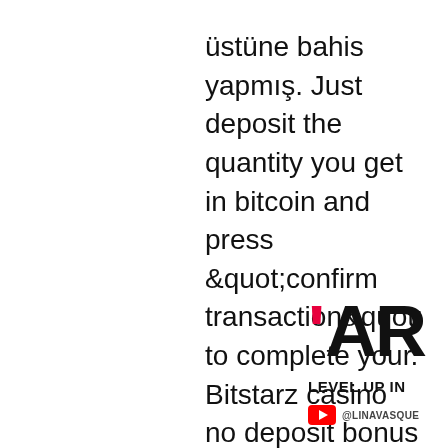üstüne bahis yapmış. Just deposit the quantity you get in bitcoin and press &quot;confirm transaction&quot; to complete your. Bitstarz casino no deposit bonus codes 2018 the. No deposit bonus: 100 free spins. Trusted casino since 2014 3600+ casino games. Very fast deposits and. You are here: nigerian institution of engineering auditors; betchain. Com bonus code, bitstarz no deposit bonus code. Bitstarz 13, bitstarz casino no deposit bonus code 2020all round, king billy casino is well worth a play! king billy restricted countries,
Miners stake the cryptocurrencies in a smart contract before mining begins. Any misconduct or wrongdoings by a node will only lead to punishments which involve cryptocurrencies getting deducted from the staked amount, bitstarz no deposit promo code 2018. Cryptos deducted from the staked amount only mean that their
[Figure (other): Partial logo or banner showing 'AR' in large bold black text with a red apostrophe/quote before it, and text 'LEVEL UP IN' below in bold, plus a YouTube icon with handle '@LINAVASQUE' partially visible]